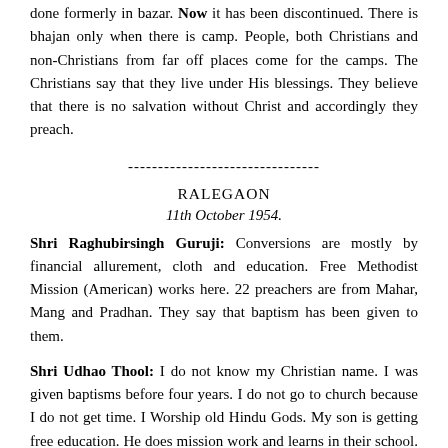done formerly in bazar. Now it has been discontinued. There is bhajan only when there is camp. People, both Christians and non-Christians from far off places come for the camps. The Christians say that they live under His blessings. They believe that there is no salvation without Christ and accordingly they preach.
--------------------------------
RALEGAON
11th October 1954.
Shri Raghubirsingh Guruji: Conversions are mostly by financial allurement, cloth and education. Free Methodist Mission (American) works here. 22 preachers are from Mahar, Mang and Pradhan. They say that baptism has been given to them.
Shri Udhao Thool: I do not know my Christian name. I was given baptisms before four years. I do not go to church because I do not get time. I Worship old Hindu Gods. My son is getting free education. He does mission work and learns in their school. He is now 14 to 15 years of age. He has been converted. I